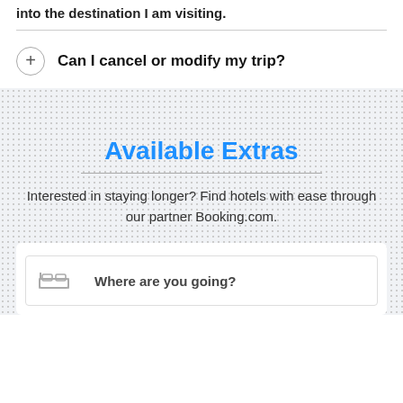into the destination I am visiting.
Can I cancel or modify my trip?
Available Extras
Interested in staying longer? Find hotels with ease through our partner Booking.com.
Where are you going?